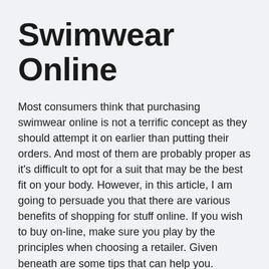Swimwear Online
Most consumers think that purchasing swimwear online is not a terrific concept as they should attempt it on earlier than putting their orders. And most of them are probably proper as it's difficult to opt for a suit that may be the best fit on your body. However, in this article, I am going to persuade you that there are various benefits of shopping for stuff online. If you wish to buy on-line, make sure you play by the principles when choosing a retailer. Given beneath are some tips that can help you.
Know what you want